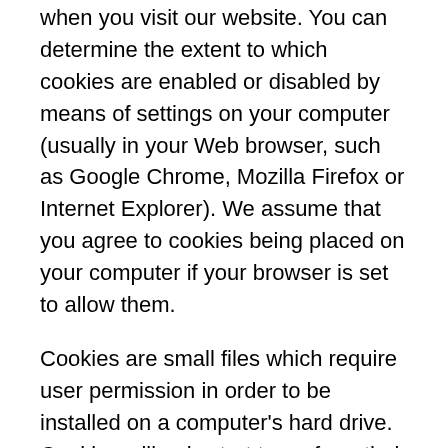when you visit our website. You can determine the extent to which cookies are enabled or disabled by means of settings on your computer (usually in your Web browser, such as Google Chrome, Mozilla Firefox or Internet Explorer). We assume that you agree to cookies being placed on your computer if your browser is set to allow them.
Cookies are small files which require user permission in order to be installed on a computer's hard drive. Cookies will only start to perform their functions after such permission is granted. By collecting and analyzing data on the user's browsing patterns, cookies allow web applications to respond to the user as an individual by tailoring a web application's operations to the user's specific needs and preferences